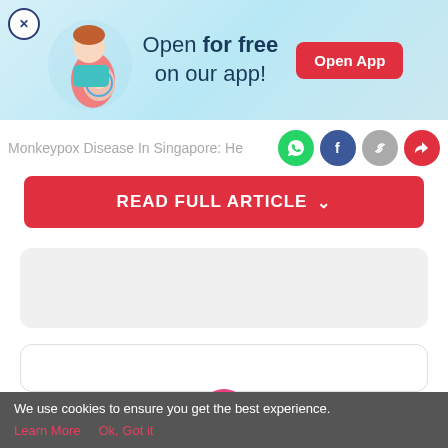[Figure (screenshot): App promotional banner with pregnant woman illustration, teal/blue background, 'Open for free on our app!' text and red 'Open App' button]
Monkeypox Disease In Singapore: He
[Figure (screenshot): Social share icons: WhatsApp (green), Facebook (dark blue), link (grey), share (red)]
READ FULL ARTICLE ˅
[Figure (screenshot): Grey placeholder content box]
[Figure (screenshot): White bordered placeholder content box]
[Figure (screenshot): Bottom navigation bar with Tools, Articles, Home (pink circle with pregnant woman), Feed, Poll icons]
We use cookies to ensure you get the best experience.
Learn More   Ok, Got it